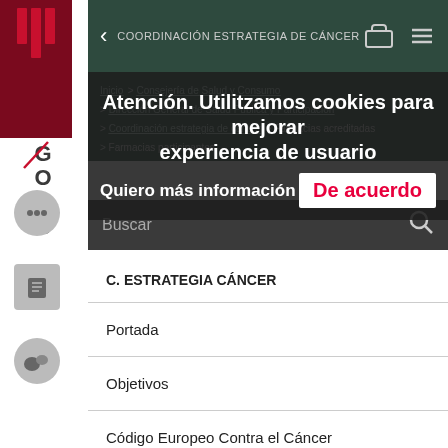[Figure (logo): GOIB government logo with red vertical bars on dark red background]
COORDINACIÓN ESTRATEGIA DE CÁNCER
Atención. Utilitzamos cookies para mejorar experiencia de usuario
Quiero más información
De acuerdo
Inicio > Consejería de Salud y Consumo > Dirección General de Salud Pública y Participación > Coordinación estrategia de cáncer > Farmacias > Farmacias acreditadas
Buscar
C. ESTRATEGIA CÁNCER
Portada
Objetivos
Código Europeo Contra el Cáncer
Prevención del cáncer